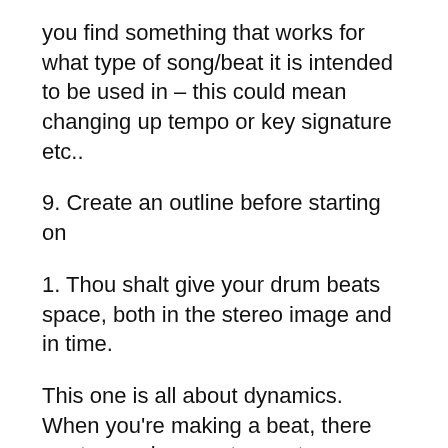you find something that works for what type of song/beat it is intended to be used in – this could mean changing up tempo or key signature etc..
9. Create an outline before starting on
1. Thou shalt give your drum beats space, both in the stereo image and in time.
This one is all about dynamics. When you're making a beat, there are two main ways to create dynamics: with volume and with silence.
If you want to make a beat sound louder, the easiest way is to boost the gain on your snare track. But this doesn't create any more depth or